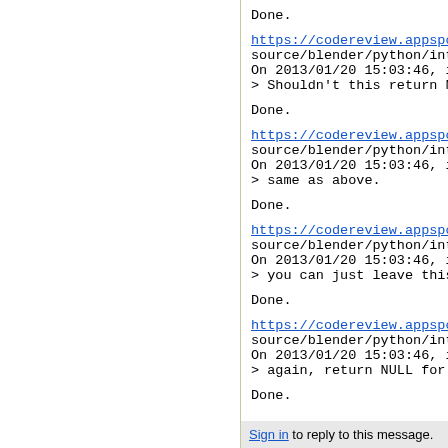Done.
https://codereview.appspot.co...
source/blender/python/intern/b...
On 2013/01/20 15:03:46, ideas...
> Shouldn't this return NULL?
Done.
https://codereview.appspot.co...
source/blender/python/intern/b...
On 2013/01/20 15:03:46, ideas...
> same as above.
Done.
https://codereview.appspot.co...
source/blender/python/intern/b...
On 2013/01/20 15:03:46, ideas...
> you can just leave this out
Done.
https://codereview.appspot.co...
source/blender/python/intern/b...
On 2013/01/20 15:03:46, ideas...
> again, return NULL for erro
Done.
Sign in to reply to this message.